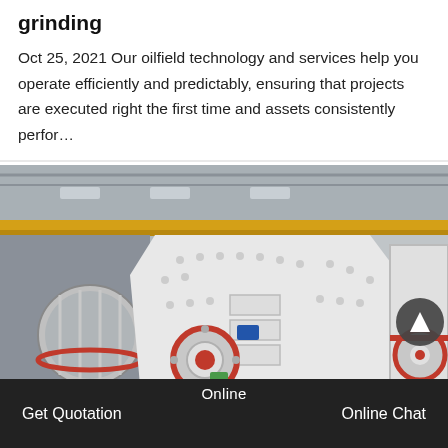grinding
Oct 25, 2021 Our oilfield technology and services help you operate efficiently and predictably, ensuring that projects are executed right the first time and assets consistently perfor…
[Figure (photo): Industrial hammer mill / impact crusher machines in a large factory/warehouse setting with yellow overhead crane rail visible, white and red painted heavy machinery on the floor.]
Online
Get Quotation
Online Chat